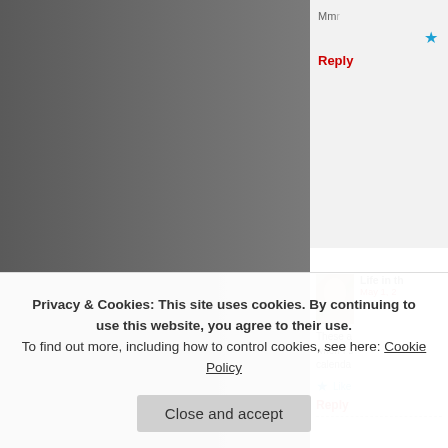[Figure (photo): Dark grayish-black torn photo taking up the left portion of the page]
Mmm
Reply
[Figure (photo): Small avatar photo of a woman in vintage style]
Life in th...
May 1, 2...
These a... when I s... calendar...
Like
Reply
[Figure (photo): Small avatar thumbnail for John]
John
May...
Privacy & Cookies: This site uses cookies. By continuing to use this website, you agree to their use.
To find out more, including how to control cookies, see here: Cookie Policy
Close and accept